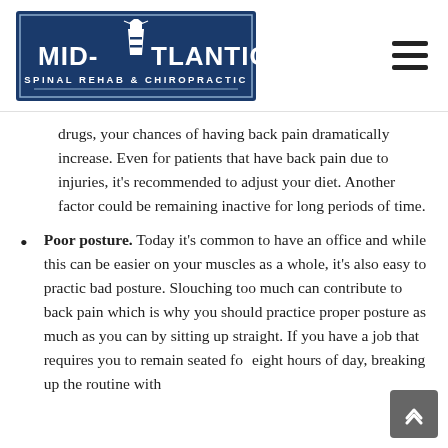[Figure (logo): Mid-Atlantic Spinal Rehab & Chiropractic logo — white lighthouse and text on dark navy blue rectangular background]
drugs, your chances of having back pain dramatically increase. Even for patients that have back pain due to injuries, it's recommended to adjust your diet. Another factor could be remaining inactive for long periods of time.
Poor posture. Today it's common to have an office and while this can be easier on your muscles as a whole, it's also easy to practic bad posture. Slouching too much can contribute to back pain which is why you should practice proper posture as much as you can by sitting up straight. If you have a job that requires you to remain seated for eight hours of day, breaking up the routine with